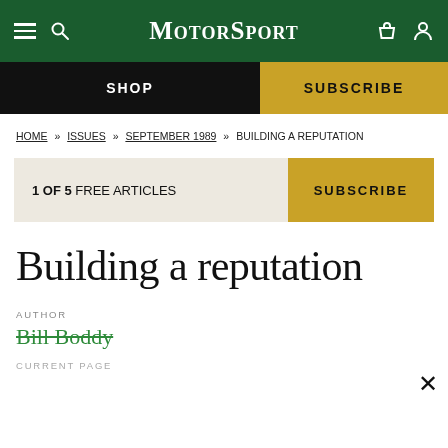MotorSport
SHOP | SUBSCRIBE
HOME » ISSUES » SEPTEMBER 1989 » BUILDING A REPUTATION
1 OF 5 FREE ARTICLES | SUBSCRIBE
Building a reputation
AUTHOR
Bill Boddy
CURRENT PAGE